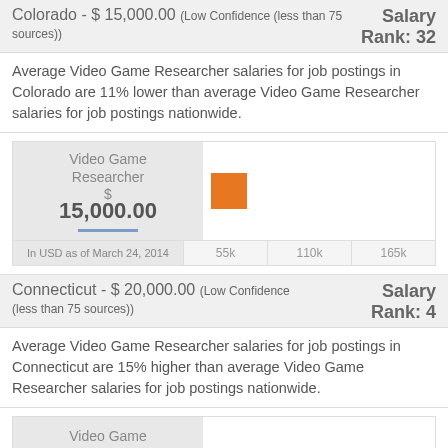Colorado - $ 15,000.00 (Low Confidence (less than 75 sources))   Salary Rank: 32
Average Video Game Researcher salaries for job postings in Colorado are 11% lower than average Video Game Researcher salaries for job postings nationwide.
[Figure (bar-chart): Video Game Researcher]
Connecticut - $ 20,000.00 (Low Confidence (less than 75 sources))   Salary Rank: 4
Average Video Game Researcher salaries for job postings in Connecticut are 15% higher than average Video Game Researcher salaries for job postings nationwide.
[Figure (bar-chart): Video Game Researcher]